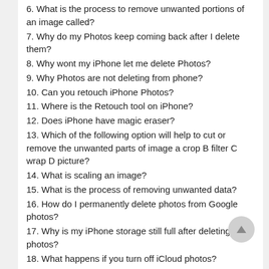6. What is the process to remove unwanted portions of an image called?
7. Why do my Photos keep coming back after I delete them?
8. Why wont my iPhone let me delete Photos?
9. Why Photos are not deleting from phone?
10. Can you retouch iPhone Photos?
11. Where is the Retouch tool on iPhone?
12. Does iPhone have magic eraser?
13. Which of the following option will help to cut or remove the unwanted parts of image a crop B filter C wrap D picture?
14. What is scaling an image?
15. What is the process of removing unwanted data?
16. How do I permanently delete photos from Google photos?
17. Why is my iPhone storage still full after deleting photos?
18. What happens if you turn off iCloud photos?
19. Does turning off iCloud photos delete them?